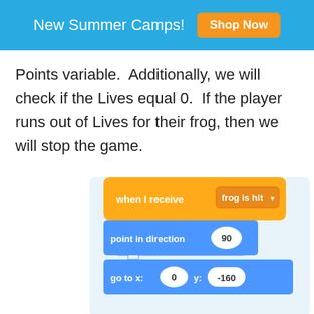New Summer Camps!  Shop Now
Points variable.  Additionally, we will check if the Lives equal 0.  If the player runs out of Lives for their frog, then we will stop the game.
[Figure (screenshot): Scratch programming blocks showing: 'when I receive [frog is hit]' event block in orange/yellow, followed by 'point in direction (90)' block in blue, and 'go to x: (0) y: (-160)' block in blue.]